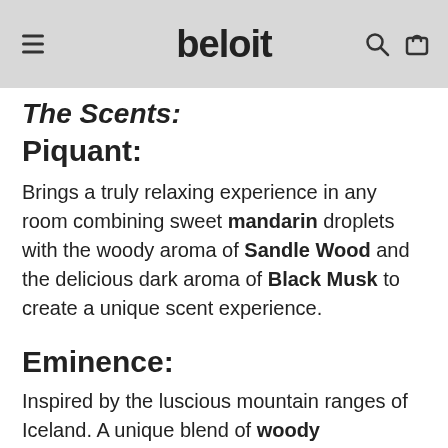beloit
The Scents:
Piquant:
Brings a truly relaxing experience in any room combining sweet mandarin droplets with the woody aroma of Sandle Wood and the delicious dark aroma of Black Musk to create a unique scent experience.
Eminence:
Inspired by the luscious mountain ranges of Iceland. A unique blend of woody